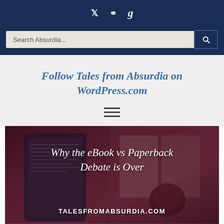Twitter Pinterest Goodreads icons — social nav bar
Search Absurdia...
Follow Tales from Absurdia on WordPress.com
[Figure (photo): Dark moody photo of an e-reader/tablet with open book pages and a coffee cup, overlaid with maroon/dark purple tint]
Why the eBook vs Paperback Debate is Over
TALESFROMABSURDIA.COM